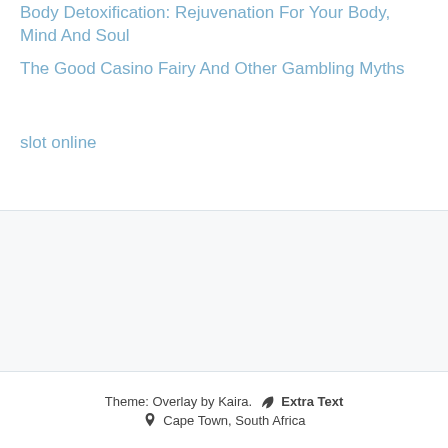Body Detoxification: Rejuvenation For Your Body, Mind And Soul
The Good Casino Fairy And Other Gambling Myths
slot online
Theme: Overlay by Kaira. 🍃 Extra Text 📍 Cape Town, South Africa